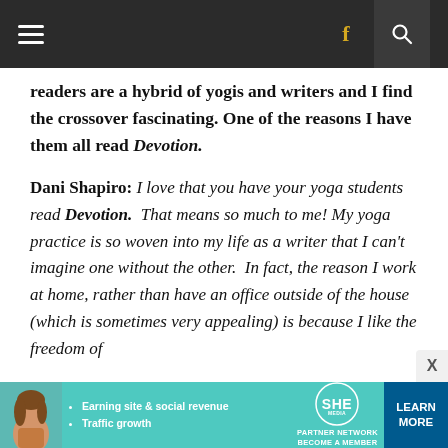≡  f  🔍
readers are a hybrid of yogis and writers and I find the crossover fascinating. One of the reasons I have them all read Devotion.
Dani Shapiro: I love that you have your yoga students read Devotion.  That means so much to me! My yoga practice is so woven into my life as a writer that I can't imagine one without the other.  In fact, the reason I work at home, rather than have an office outside of the house (which is sometimes very appealing) is because I like the freedom of
[Figure (other): Advertisement banner for SHE Media Partner Network featuring a woman's photo, bullet points about Earning site & social revenue and Traffic growth, SHE logo, and a Learn More button]